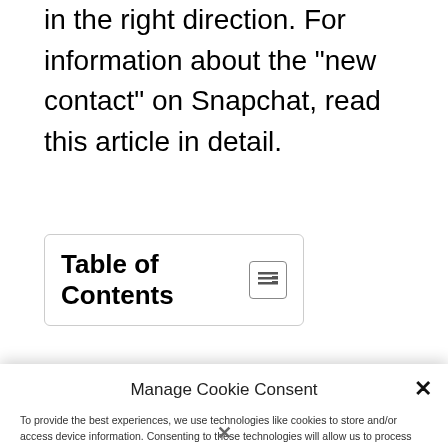in the right direction. For information about the "new contact" on Snapchat, read this article in detail.
Table of Contents
Manage Cookie Consent
To provide the best experiences, we use technologies like cookies to store and/or access device information. Consenting to these technologies will allow us to process data such as browsing behavior or unique IDs on this site. Not consenting or withdrawing consent, may adversely affect certain features and functions.
Accept